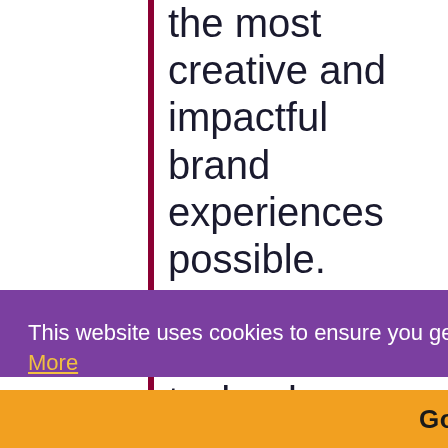the most creative and impactful brand experiences possible. Strategic investments in technology and skills, like those of the Bluewater team, give us the opportunity to offer an unparalleled and personalized for the traditional, digital, national and local needs of multi-unit
This website uses cookies to ensure you get the best experience on our website. Learn More
Got it!